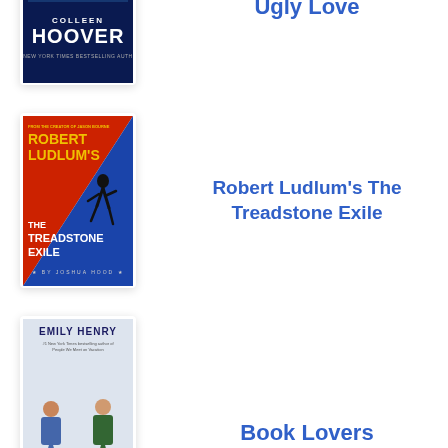[Figure (illustration): Book cover of 'Ugly Love' by Colleen Hoover — dark blue background with blue stylized text]
Ugly Love
[Figure (illustration): Book cover of 'Robert Ludlum's The Treadstone Exile' — red and blue diagonal split with silhouette figure]
Robert Ludlum's The Treadstone Exile
[Figure (illustration): Book cover of 'Book Lovers' by Emily Henry — illustrated characters on light background]
Book Lovers